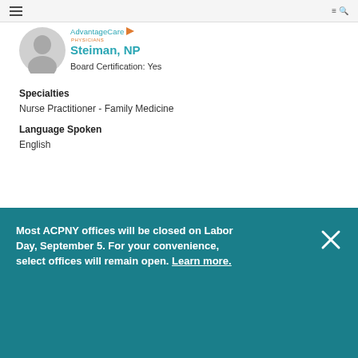≡  AdvantageCare Physicians  ≡🔍
[Figure (illustration): Generic person/avatar placeholder icon, gray circle with silhouette]
Alexandra Hoffman-Steiman, NP
Board Certification: Yes
Specialties
Nurse Practitioner - Family Medicine
Language Spoken
English
Most ACPNY offices will be closed on Labor Day, September 5. For your convenience, select offices will remain open. Learn more.